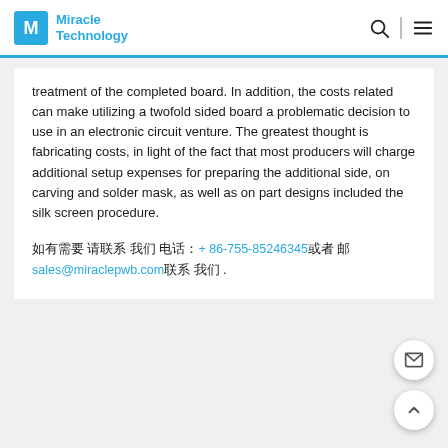Miracle Technology
treatment of the completed board. In addition, the costs related can make utilizing a twofold sided board a problematic decision to use in an electronic circuit venture. The greatest thought is fabricating costs, in light of the fact that most producers will charge additional setup expenses for preparing the additional side, on carving and solder mask, as well as on part designs included the silk screen procedure.
如有需要 请联系 我们 电话：+ 86-755-85246345或者 邮箱：sales@miraclepwb.com联系 我们 .